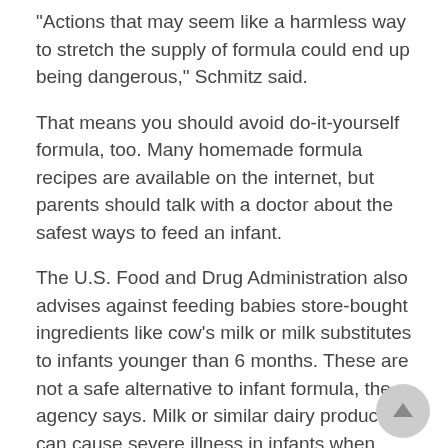"Actions that may seem like a harmless way to stretch the supply of formula could end up being dangerous," Schmitz said.
That means you should avoid do-it-yourself formula, too. Many homemade formula recipes are available on the internet, but parents should talk with a doctor about the safest ways to feed an infant.
The U.S. Food and Drug Administration also advises against feeding babies store-bought ingredients like cow's milk or milk substitutes to infants younger than 6 months. These are not a safe alternative to infant formula, the agency says. Milk or similar dairy products can cause severe illness in infants when they have heat stress, fever or diarrhea.
An infant cannot digest cow's milk as completely or as